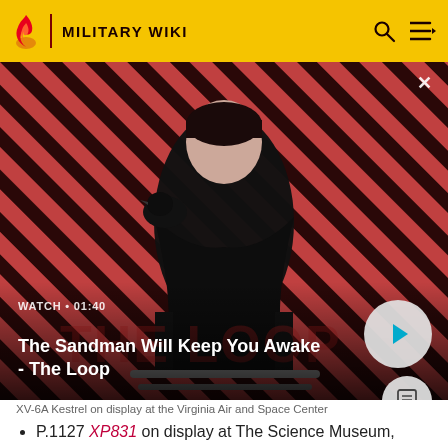MILITARY WIKI
[Figure (screenshot): Video thumbnail showing a man in black clothing with a raven on his shoulder against a red and black diagonal striped background. Text overlay reads 'WATCH • 01:40' and 'The Sandman Will Keep You Awake - The Loop'. A play button circle is visible on the right.]
XV-6A Kestrel on display at the Virginia Air and Space Center
P.1127 XP831 on display at The Science Museum, London, England.[38]